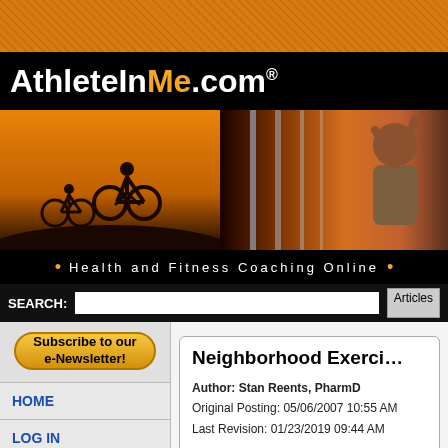[Figure (screenshot): Orange textured top bar of AthleteInMe.com website]
AthleteInMe.com®
[Figure (photo): Hero banner with two cyclists silhouette at sunset on left, and a man exercising on orange background on right]
• Health and Fitness Coaching Online •
SEARCH: [search box] Articles
Subscribe to our e-Newsletter!
HOME
LOG IN
OUR MISSION
ABOUT US
Neighborhood Exerci…
Author: Stan Reents, PharmD
Original Posting: 05/06/2007 10:55 AM
Last Revision: 01/23/2019 09:44 AM